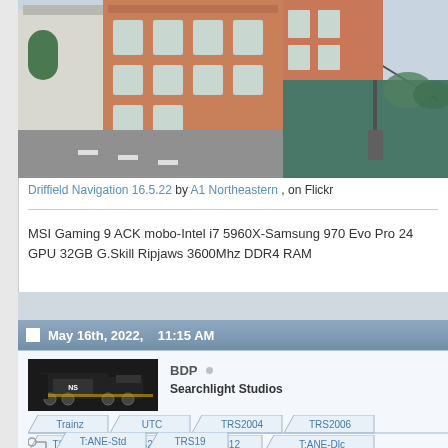[Figure (screenshot): Screenshot from a train simulator showing a brick industrial building, road with white markings, a green canal/waterway, and a crane on the right side. Viewed from above at an angle.]
Driffield Navigation 16.5.22 by A1 Northeastern, on Flickr
MSI Gaming 9 ACK mobo-Intel i7 5960X-Samsung 970 Evo Pro 24 GPU 32GB G.Skill Ripjaws 3600Mhz DDR4 RAM
May 16th, 2022,   11:15 AM
[Figure (illustration): Pixel art style illustration of a black Norfolk Southern (NS) locomotive.]
BDP ○
Searchlight Studios
Trainz  UTC  TRS2004  TRS2006
TS2009  TS2010  TS12  T:ANE-Dlc
T:ANE-Std  TRS19